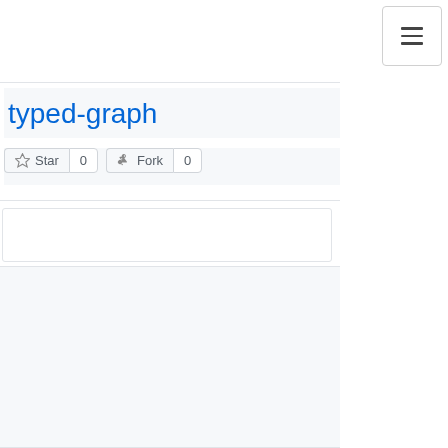☰
typed-graph
☆ Star 0   ⑂ Fork 0
[Figure (screenshot): Empty white content box area below action buttons]
[Figure (screenshot): Light gray empty content area filling the lower portion of the page]